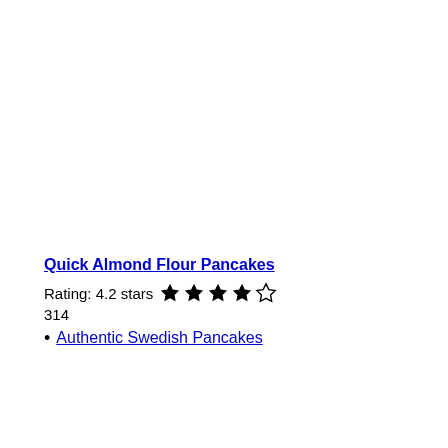Quick Almond Flour Pancakes
Rating: 4.2 stars ★★★★☆
314
Authentic Swedish Pancakes